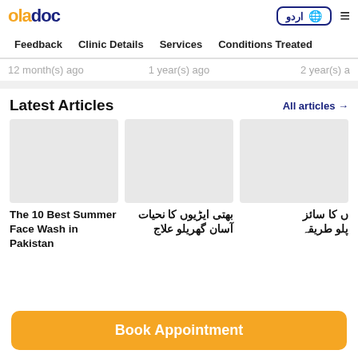oladoc | اردو | menu
Feedback  Clinic Details  Services  Conditions Treated
12 month(s) ago    1 year(s) ago    2 year(s) ago
Latest Articles
All articles →
The 10 Best Summer Face Wash in Pakistan
بھتی ایڑیوں کا نحیات آسان گھریلو علاج
ں کا سائز پلو طریقہ
Book Appointment